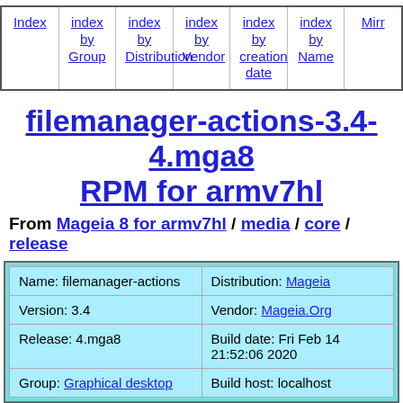Index | index by Group | index by Distribution | index by Vendor | index by creation date | index by Name | Mirrors
filemanager-actions-3.4-4.mga8 RPM for armv7hl
From Mageia 8 for armv7hl / media / core / release
| Name: filemanager-actions | Distribution: Mageia |
| Version: 3.4 | Vendor: Mageia.Org |
| Release: 4.mga8 | Build date: Fri Feb 14 21:52:06 2020 |
| Group: Graphical desktop | Build host: localhost |